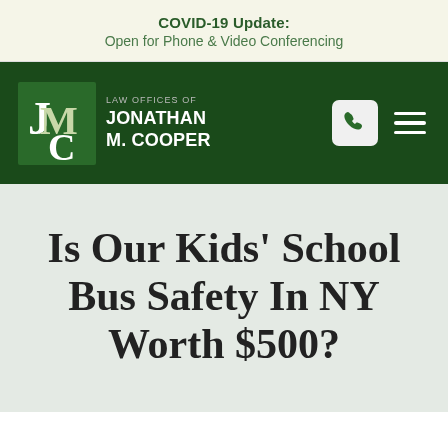COVID-19 Update: Open for Phone & Video Conferencing
[Figure (logo): Law Offices of Jonathan M. Cooper logo with JMC monogram on dark green background]
Is Our Kids' School Bus Safety In NY Worth $500?